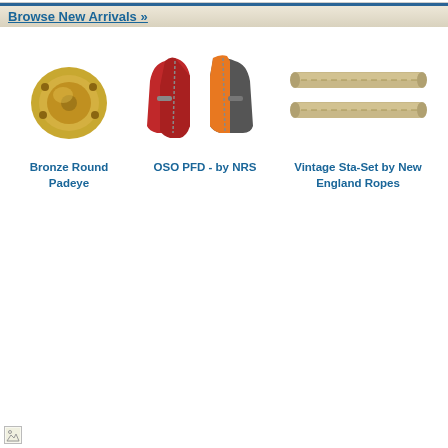Browse New Arrivals »
[Figure (photo): Bronze Round Padeye - circular brass hardware fitting with screw holes]
Bronze Round Padeye
[Figure (photo): OSO PFD by NRS - red and grey personal flotation devices/life vests shown side by side]
OSO PFD - by NRS
[Figure (photo): Vintage Sta-Set by New England Ropes - two tan/beige ropes shown horizontally]
Vintage Sta-Set by New England Ropes